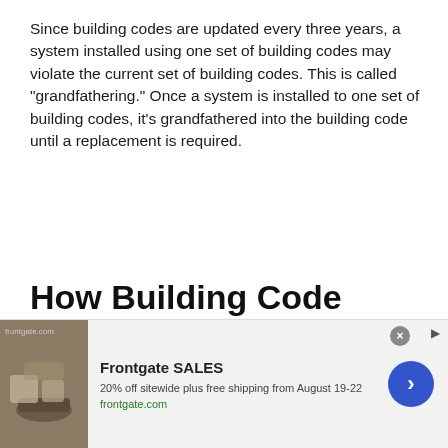Since building codes are updated every three years, a system installed using one set of building codes may violate the current set of building codes. This is called “grandfathering.” Once a system is installed to one set of building codes, it’s grandfathered into the building code until a replacement is required.
How Building Code Inspectors Differ from Home Inspectors
[Figure (other): Advertisement banner for Frontgate SALES: 20% off sitewide plus free shipping from August 19-22. Shows outdoor furniture with fire pit image on left, text in center, blue arrow button on right.]